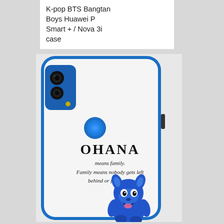K-pop BTS Bangtan Boys Huawei P Smart + / Nova 3i case
[Figure (photo): A white Huawei phone case featuring the Stitch character (from Lilo & Stitch) with text reading 'OHANA means family. Family means nobody gets left behind or forgotten.' The phone case is shown on a white Huawei P Smart+ / Nova 3i phone with a blue camera module and blue fingerprint sensor.]